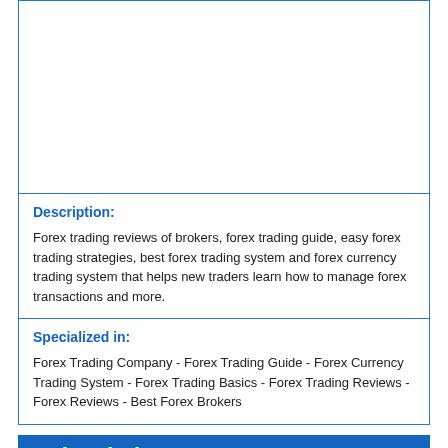[Figure (other): Empty white box with blue border at top of page]
Description:
Forex trading reviews of brokers, forex trading guide, easy forex trading strategies, best forex trading system and forex currency trading system that helps new traders learn how to manage forex transactions and more.
Specialized in:
Forex Trading Company - Forex Trading Guide - Forex Currency Trading System - Forex Trading Basics - Forex Trading Reviews - Forex Reviews - Best Forex Brokers
Related Sites
Entrepreneur's Digest (Popularity: ): The Work from Home Guide. My son made this guide to tell me a lot about what I need to ...
Information Resource Center (Popularity: ): Get the latest official DSA driving theory test 2010/11 questions with case study style questions and